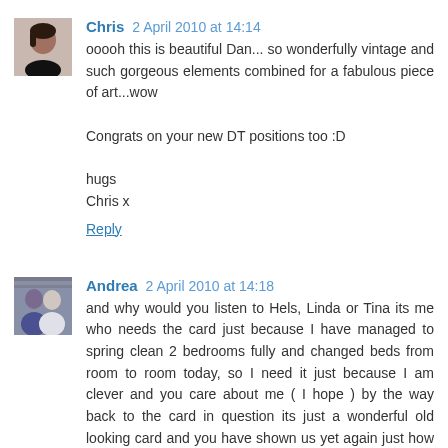[Figure (photo): Small avatar photo of Chris, a woman with dark hair]
Chris 2 April 2010 at 14:14
ooooh this is beautiful Dan... so wonderfully vintage and such gorgeous elements combined for a fabulous piece of art...wow

Congrats on your new DT positions too :D

hugs
Chris x
Reply
[Figure (photo): Small avatar photo of Andrea, two people visible]
Andrea 2 April 2010 at 14:18
and why would you listen to Hels, Linda or Tina its me who needs the card just because I have managed to spring clean 2 bedrooms fully and changed beds from room to room today, so I need it just because I am clever and you care about me ( I hope ) by the way back to the card in question its just a wonderful old looking card and you have shown us yet again just how creative you are x